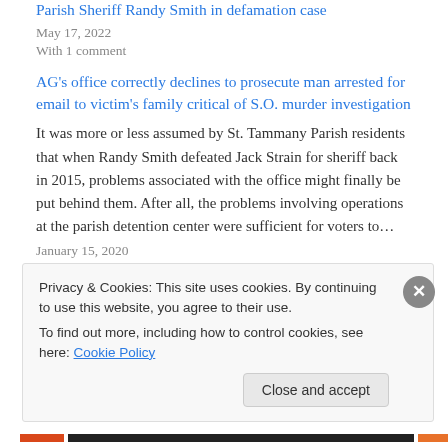Parish Sheriff Randy Smith in defamation case
May 17, 2022
With 1 comment
AG's office correctly declines to prosecute man arrested for email to victim's family critical of S.O. murder investigation
It was more or less assumed by St. Tammany Parish residents that when Randy Smith defeated Jack Strain for sheriff back in 2015, problems associated with the office might finally be put behind them. After all, the problems involving operations at the parish detention center were sufficient for voters to…
January 15, 2020
With 6 comments
Privacy & Cookies: This site uses cookies. By continuing to use this website, you agree to their use.
To find out more, including how to control cookies, see here: Cookie Policy
Close and accept